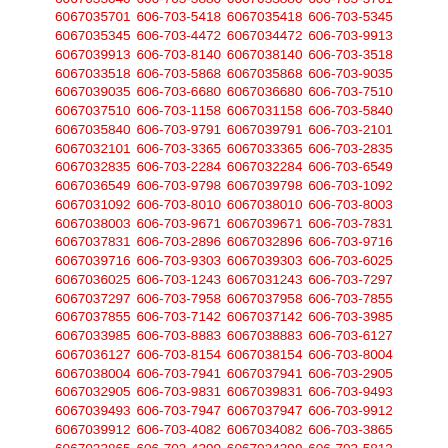6067033040 606-703-3880 6067033880 606-703-5701 6067035701 606-703-5418 6067035418 606-703-5345 6067035345 606-703-4472 6067034472 606-703-9913 6067039913 606-703-8140 6067038140 606-703-3518 6067033518 606-703-5868 6067035868 606-703-9035 6067039035 606-703-6680 6067036680 606-703-7510 6067037510 606-703-1158 6067031158 606-703-5840 6067035840 606-703-9791 6067039791 606-703-2101 6067032101 606-703-3365 6067033365 606-703-2835 6067032835 606-703-2284 6067032284 606-703-6549 6067036549 606-703-9798 6067039798 606-703-1092 6067031092 606-703-8010 6067038010 606-703-8003 6067038003 606-703-9671 6067039671 606-703-7831 6067037831 606-703-2896 6067032896 606-703-9716 6067039716 606-703-9303 6067039303 606-703-6025 6067036025 606-703-1243 6067031243 606-703-7297 6067037297 606-703-7958 6067037958 606-703-7855 6067037855 606-703-7142 6067037142 606-703-3985 6067033985 606-703-8883 6067038883 606-703-6127 6067036127 606-703-8154 6067038154 606-703-8004 6067038004 606-703-7941 6067037941 606-703-2905 6067032905 606-703-9831 6067039831 606-703-9493 6067039493 606-703-7947 6067037947 606-703-9912 6067039912 606-703-4082 6067034082 606-703-3865 6067033865 606-703-4399 6067034399 606-703-5813